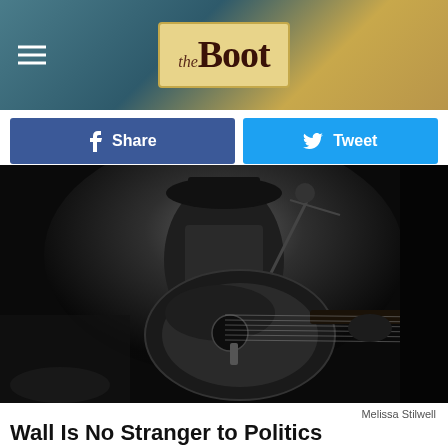the Boot
Share
Tweet
[Figure (photo): Black and white concert photo of a musician wearing a cowboy hat playing an acoustic guitar at a microphone on stage]
Melissa Stilwell
Wall Is No Stranger to Politics